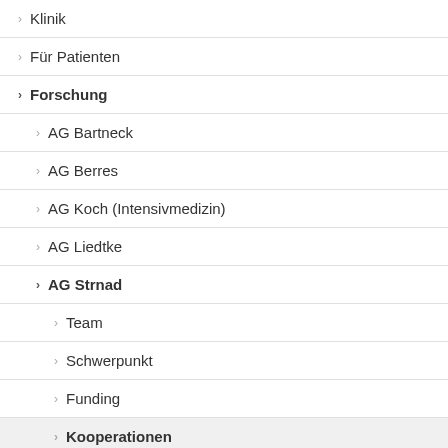Klinik
Für Patienten
Forschung
AG Bartneck
AG Berres
AG Koch (Intensivmedizin)
AG Liedtke
AG Strnad
Team
Schwerpunkt
Funding
Kooperationen